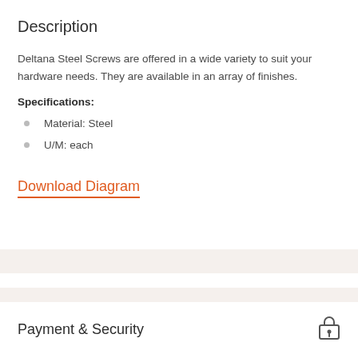Description
Deltana Steel Screws are offered in a wide variety to suit your hardware needs. They are available in an array of finishes.
Specifications:
Material: Steel
U/M: each
Download Diagram
Payment & Security